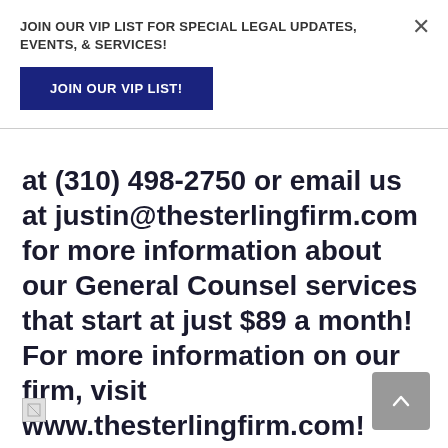JOIN OUR VIP LIST FOR SPECIAL LEGAL UPDATES, EVENTS, & SERVICES!
JOIN OUR VIP LIST!
at (310) 498-2750 or email us at justin@thesterlingfirm.com for more information about our General Counsel services that start at just $89 a month! For more information on our firm, visit www.thesterlingfirm.com!
[Figure (other): Broken image placeholder icon at bottom left]
[Figure (other): Scroll to top button (grey square with upward chevron arrow) at bottom right]